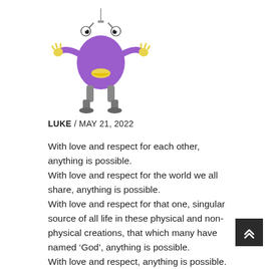[Figure (illustration): Cartoon purple blob character with eyes on stalks, yellow beak/mouth, small yellow hands raised, and gray robot-like legs, hanging from a wire at the top]
LUKE / MAY 21, 2022
With love and respect for each other, anything is possible. With love and respect for the world we all share, anything is possible. With love and respect for that one, singular source of all life in these physical and non-physical creations, that which many have named ‘God’, anything is possible. With love and respect, anything is possible.